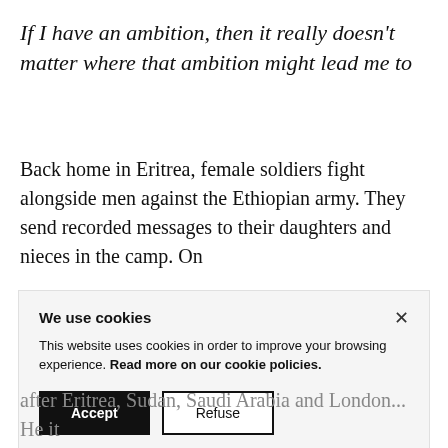If I have an ambition, then it really doesn't matter where that ambition might lead me to
Back home in Eritrea, female soldiers fight alongside men against the Ethiopian army. They send recorded messages to their daughters and nieces in the camp. On
We use cookies
This website uses cookies in order to improve your browsing experience. Read more on our cookie policies.
[Accept] [Refuse]
after Eritrea, Sudan, Saudi Arabia and London... He it